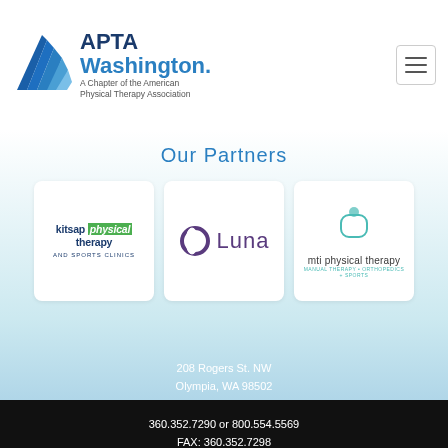[Figure (logo): APTA Washington logo — blue arrow/wing graphic with text 'APTA Washington' and subtitle 'A Chapter of the American Physical Therapy Association']
Our Partners
[Figure (logo): Kitsap Physical Therapy and Sports Clinics logo — navy and green text on white card]
[Figure (logo): Luna logo — purple circle ring icon with 'Luna' text]
[Figure (logo): MTI Physical Therapy logo — teal icon with 'mti physical therapy' text and tagline 'manual therapy + orthopedics + sports']
208 Rogers St. NW
Olympia, WA 98502

360.352.7290 or 800.554.5569
FAX: 360.352.7298

info@aptawa.org